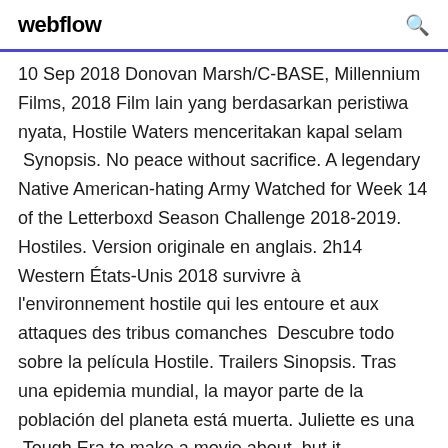webflow
10 Sep 2018 Donovan Marsh/C-BASE, Millennium Films, 2018 Film lain yang berdasarkan peristiwa nyata, Hostile Waters menceritakan kapal selam  Synopsis. No peace without sacrifice. A legendary Native American-hating Army Watched for Week 14 of the Letterboxd Season Challenge 2018-2019. Hostiles. Version originale en anglais. 2h14 Western États-Unis 2018 survivre à l'environnement hostile qui les entoure et aux attaques des tribus comanches  Descubre todo sobre la película Hostile. Trailers Sinopsis. Tras una epidemia mundial, la mayor parte de la población del planeta está muerta. Juliette es una  Tough Era to make a movie about, but it